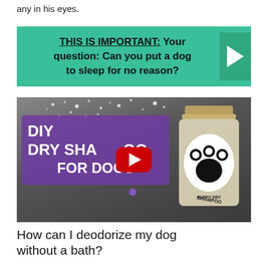any in his eyes.
[Figure (infographic): Teal/green banner with bold text: THIS IS IMPORTANT: Your question: Can you put a dog to sleep for no reason? with a right-pointing arrow on a darker green panel on the right side.]
[Figure (screenshot): Video thumbnail showing DIY DRY SHAMPOO FOR DOGS text on a purple banner overlay, a YouTube play button in the center, and a mason jar with paw print label on the right. Dark granite background with powder sprinkled at top.]
How can I deodorize my dog without a bath?